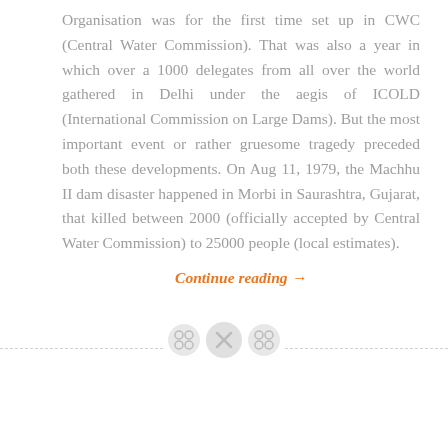Organisation was for the first time set up in CWC (Central Water Commission). That was also a year in which over a 1000 delegates from all over the world gathered in Delhi under the aegis of ICOLD (International Commission on Large Dams). But the most important event or rather gruesome tragedy preceded both these developments. On Aug 11, 1979, the Machhu II dam disaster happened in Morbi in Saurashtra, Gujarat, that killed between 2000 (officially accepted by Central Water Commission) to 25000 people (local estimates).
Continue reading →
[Figure (other): Decorative divider with dashed horizontal line and three circular button/icon elements in the center]